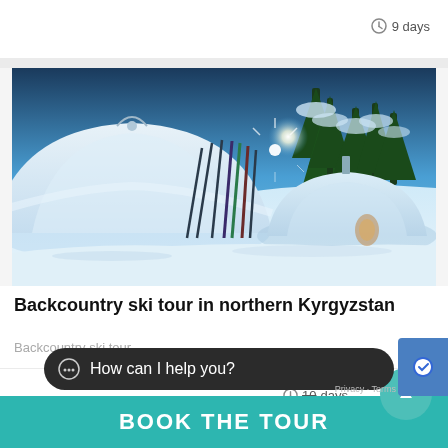9 days
[Figure (photo): Yurts and ski equipment in snowy winter mountain landscape in Kyrgyzstan, blue-toned twilight scene with trees and sunstar]
Backcountry ski tour in northern Kyrgyzstan
Backcountry ski tour
10 days
How can I help you?
BOOK THE TOUR
Privacy - Terms